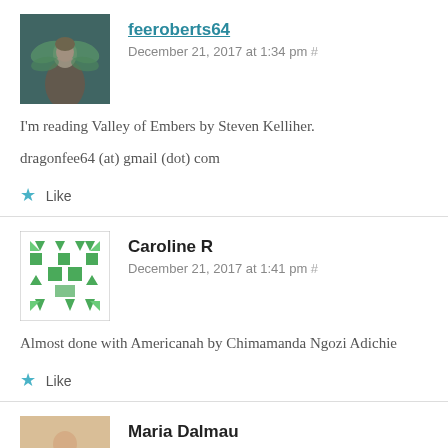[Figure (photo): Avatar image of feeroberts64 - a fairy/fantasy figure with green wings]
feeroberts64
December 21, 2017 at 1:34 pm #
I'm reading Valley of Embers by Steven Kelliher.
dragonfee64 (at) gmail (dot) com
★ Like
[Figure (illustration): Geometric avatar for Caroline R - green and white quilt-like pattern with triangles and squares]
Caroline R
December 21, 2017 at 1:41 pm #
Almost done with Americanah by Chimamanda Ngozi Adichie
★ Like
[Figure (photo): Avatar photo of Maria Dalmau - person in black top]
Maria Dalmau
December 21, 2017 at 1:56 pm #